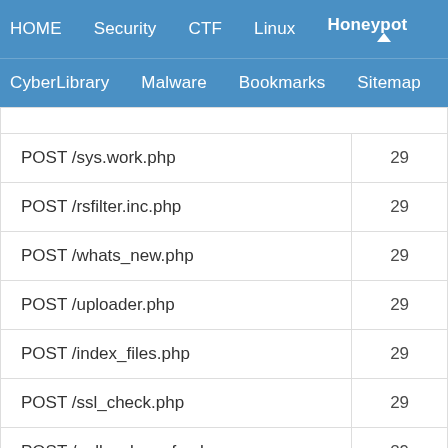HOME  Security  CTF  Linux  Honeypot  CyberLibrary  Malware  Bookmarks  Sitemap  About
| Request | Count |
| --- | --- |
| POST /sys.work.php | 29 |
| POST /rsfilter.inc.php | 29 |
| POST /whats_new.php | 29 |
| POST /uploader.php | 29 |
| POST /index_files.php | 29 |
| POST /ssl_check.php | 29 |
| POST /gallery.lang_fa.php | 29 |
| POST /jpgraph_date.php | 29 |
| POST /code.requests.php | 29 |
| POST /include.db.php | 29 |